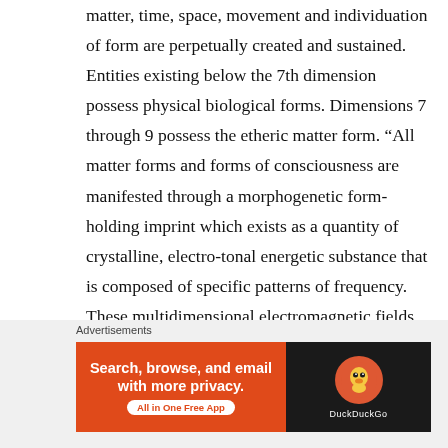matter, time, space, movement and individuation of form are perpetually created and sustained. Entities existing below the 7th dimension possess physical biological forms. Dimensions 7 through 9 possess the etheric matter form. “All matter forms and forms of consciousness are manifested through a morphogenetic form-holding imprint which exists as a quantity of crystalline, electro-tonal energetic substance that is composed of specific patterns of frequency. These multidimensional electromagnetic fields are collectively referred to as the bio-energetic system or the aura field of a manifest form. The
Advertisements
[Figure (other): DuckDuckGo advertisement banner. Left side: orange background with text 'Search, browse, and email with more privacy.' and 'All in One Free App' pill button. Right side: dark background with DuckDuckGo logo and brand name.]